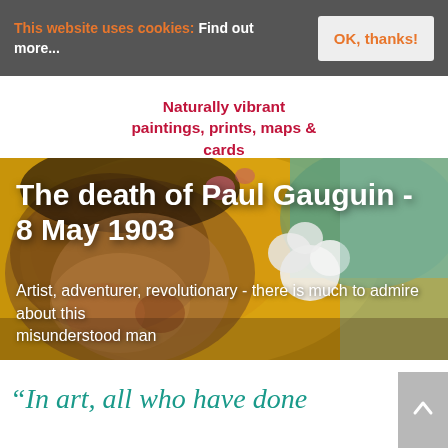This website uses cookies: Find out more...  [OK, thanks!]
Naturally vibrant paintings, prints, maps & cards
[Figure (photo): Hero banner showing a colorful painting of Paul Gauguin's face against a yellow/orange background with white flowers, overlaid with the text 'The death of Paul Gauguin - 8 May 1903' and subtitle 'Artist, adventurer, revolutionary - there is much to admire about this misunderstood man']
The death of Paul Gauguin - 8 May 1903
Artist, adventurer, revolutionary - there is much to admire about this misunderstood man
“In art, all who have done